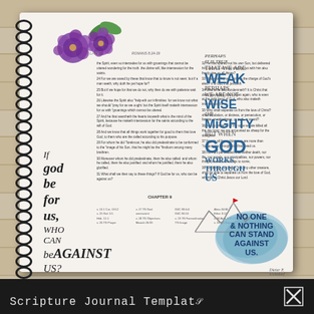[Figure (photo): Bible journaling notebook open to Romans 8, with purple flower watercolor decorations, spiral binding, handwritten scripture quotes, and mountain sketch. The notebook rests on a wood plank surface.]
PERHAPS IT IS TRUE THAT WE ARE WEAK PERHAPS WE ARE NOT WISE OR MIGHTY BUT WHEN GOD WORKS THROUGH US NO ONE & NOTHING CAN STAND AGAINST US
IF god be for us, WHO CAN be AGAINST US?
Dieter F. Uchtdorf
Scripture Journal Template